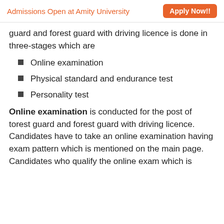Admissions Open at Amity University  Apply Now!!
guard and forest guard with driving licence is done in three-stages which are
Online examination
Physical standard and endurance test
Personality test
Online examination is conducted for the post of torest guard and forest guard with driving licence. Candidates have to take an online examination having exam pattern which is mentioned on the main page. Candidates who qualify the online exam which is